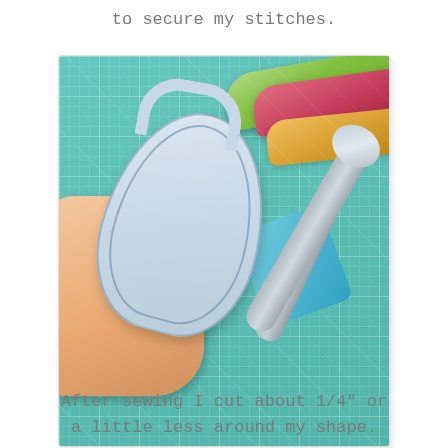to secure my stitches.
[Figure (photo): A hand with teal/green nail polish holding a teardrop/leaf-shaped sewn fabric piece. The piece is light blue/grey and has a visible stitch line around its edge with a small loop/strap at the top. In the background is a teal cutting mat with grid lines, a pair of scissors, a piece of blue fabric with a print, and several rolls of fabric (green, red/pink pattern) in the upper right corner.]
After sewing I cut about 1/4" or a little less around my shape.